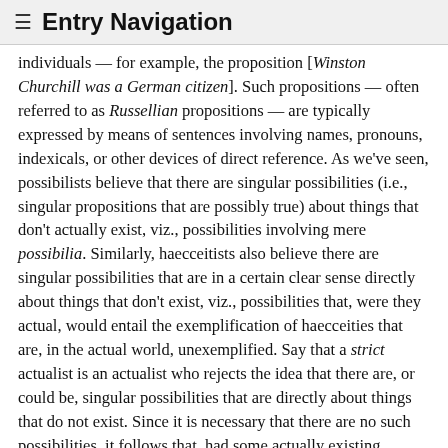≡ Entry Navigation
individuals — for example, the proposition [Winston Churchill was a German citizen]. Such propositions — often referred to as Russellian propositions — are typically expressed by means of sentences involving names, pronouns, indexicals, or other devices of direct reference. As we've seen, possibilists believe that there are singular possibilities (i.e., singular propositions that are possibly true) about things that don't actually exist, viz., possibilities involving mere possibilia. Similarly, haecceitists also believe there are singular possibilities that are in a certain clear sense directly about things that don't exist, viz., possibilities that, were they actual, would entail the exemplification of haecceities that are, in the actual world, unexemplified. Say that a strict actualist is an actualist who rejects the idea that there are, or could be, singular possibilities that are directly about things that do not exist. Since it is necessary that there are no such possibilities, it follows that, had some actually existing individual a failed to exist, there have been no singular propositions about that individual; or, as Prior often puts